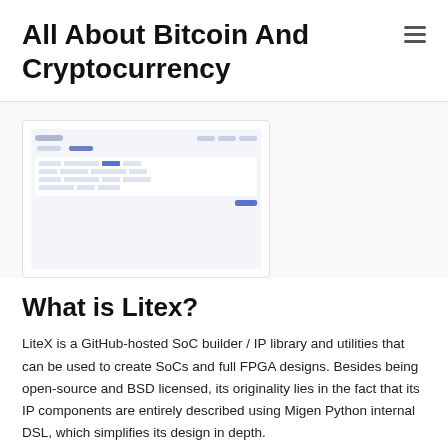All About Bitcoin And Cryptocurrency
[Figure (screenshot): Screenshot of a software interface resembling a SoC or IP library builder UI with table rows, tabs, and a blue button]
What is Litex?
LiteX is a GitHub-hosted SoC builder / IP library and utilities that can be used to create SoCs and full FPGA designs. Besides being open-source and BSD licensed, its originality lies in the fact that its IP components are entirely described using Migen Python internal DSL, which simplifies its design in depth.